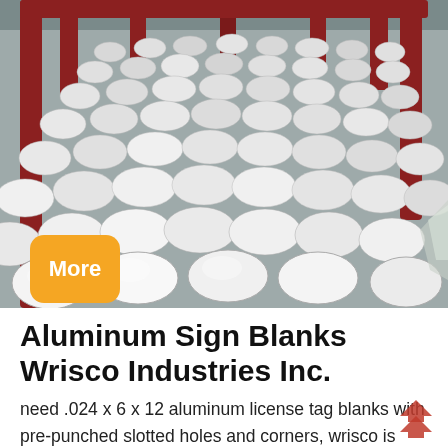[Figure (photo): Industrial photo of many round aluminum disc blanks stacked in a metal crate/rack, viewed from above at an angle. A red metal frame is visible at the top and sides. The discs are silver/metallic in color and densely packed. A yellow rounded button labeled 'More' overlays the lower-left of the photo.]
Aluminum Sign Blanks Wrisco Industries Inc.
need .024 x 6 x 12 aluminum license tag blanks with pre-punched slotted holes and corners, wrisco is your source. wrisco is the industry leader in wholesale sign blanks that are perfect for sign shops. if your business produces traffic, construction, parking, and street signs, wee a gre...